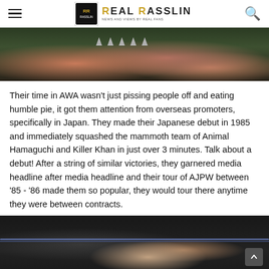Real Rasslin — News and Views by Real Fans
[Figure (photo): Close-up photo of wrestlers with spiked collar/leather gear, dark background]
Their time in AWA wasn't just pissing people off and eating humble pie, it got them attention from overseas promoters, specifically in Japan. They made their Japanese debut in 1985 and immediately squashed the mammoth team of Animal Hamaguchi and Killer Khan in just over 3 minutes. Talk about a debut! After a string of similar victories, they garnered media headline after media headline and their tour of AJPW between '85 - '86 made them so popular, they would tour there anytime they were between contracts.
[Figure (photo): Photo of a wrestler at ringside or in the ring, dark arena setting with referee visible]